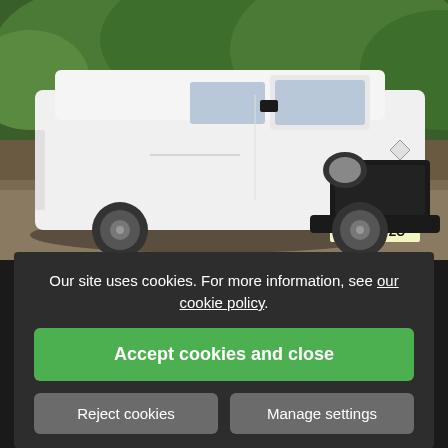[Figure (photo): White Renault Trafic panel van (registration AW17 VZO) parked on gravel driveway with green tree foliage in background]
Our site uses cookies. For more information, see our cookie policy.
Accept cookies and close
Reject cookies
Manage settings
Darren [...]  TEEN vans from [...]  the [...]
CAN'T G[...]
NATIONWIDE DELIVERY — [...] £[...]